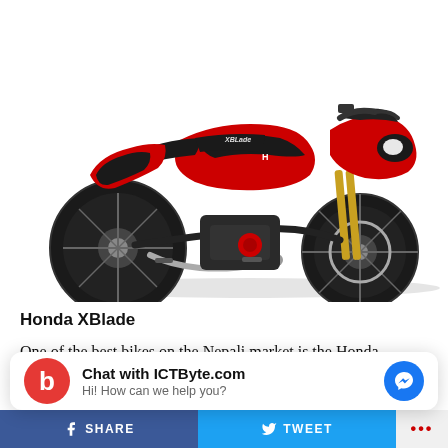[Figure (photo): Red and black Honda XBlade motorcycle shown in profile/three-quarter view against a white background]
Honda XBlade
One of the best bikes on the Nepali market is the Honda XBlade, a product of Honda Motors with the slogan “One Look Is Enough.” Every bike enthusiast in Nepal and
[Figure (screenshot): Chat widget overlay showing ICTByte.com chat button with red logo icon and Facebook Messenger button. Text: Chat with ICTByte.com / Hi! How can we help you?]
SHARE   TWEET   ...